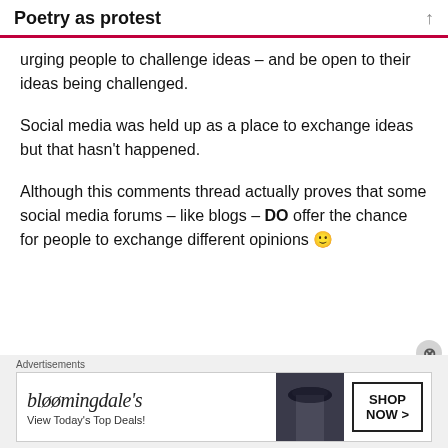Poetry as protest
urging people to challenge ideas – and be open to their ideas being challenged.
Social media was held up as a place to exchange ideas but that hasn't happened.
Although this comments thread actually proves that some social media forums – like blogs – DO offer the chance for people to exchange different opinions 🙂
Advertisements
[Figure (other): Bloomingdale's advertisement banner with logo, tagline 'View Today's Top Deals!', fashion photo, and 'SHOP NOW >' button]